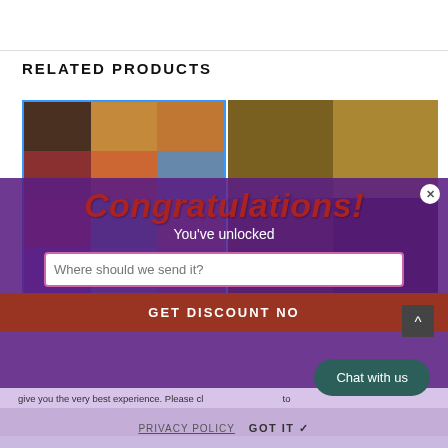RELATED PRODUCTS
[Figure (photo): Grid collage of women with various short hairstyles, left product photo]
[Figure (photo): Grid collage of women with curly/natural hairstyles, right product photo]
Congratulations!
You've unlocked
Where should we send it?
GET DISCOUNT NO
give you the very best experience. Please cl
Chat with us
PRIVACY POLICY
GOT IT ✔